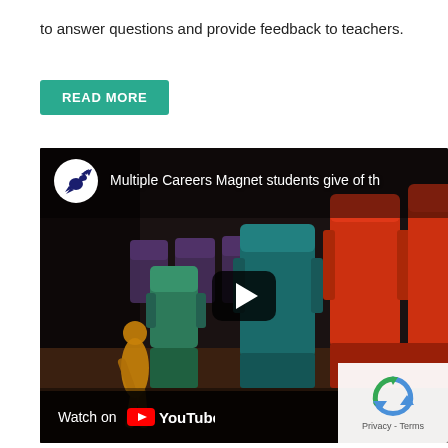to answer questions and provide feedback to teachers.
READ MORE
[Figure (screenshot): YouTube video thumbnail showing colorful theater seats (red, green, teal) with a wooden mannequin figure visible on the left. Video title reads 'Multiple Careers Magnet students give of th'. Includes YouTube channel logo (bird icon), play button overlay, Watch on YouTube bar at the bottom, and a Privacy/Terms reCAPTCHA badge in the bottom-right corner.]